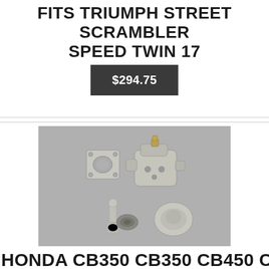FITS TRIUMPH STREET SCRAMBLER SPEED TWIN 17
$294.75
[Figure (photo): Disassembled carburetor parts laid out on a grey surface, showing the main body, float bowl, gasket/flange, needle valve assembly, and other small components in silver/chrome finish.]
HONDA CB350 CB350 CB450 CL350